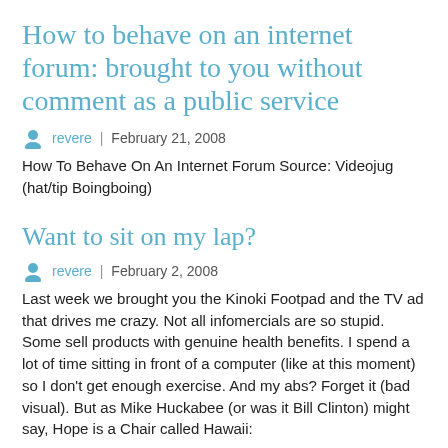How to behave on an internet forum: brought to you without comment as a public service
revere | February 21, 2008
How To Behave On An Internet Forum Source: Videojug (hat/tip Boingboing)
Want to sit on my lap?
revere | February 2, 2008
Last week we brought you the Kinoki Footpad and the TV ad that drives me crazy. Not all infomercials are so stupid. Some sell products with genuine health benefits. I spend a lot of time sitting in front of a computer (like at this moment) so I don't get enough exercise. And my abs? Forget it (bad visual). But as Mike Huckabee (or was it Bill Clinton) might say, Hope is a Chair called Hawaii: